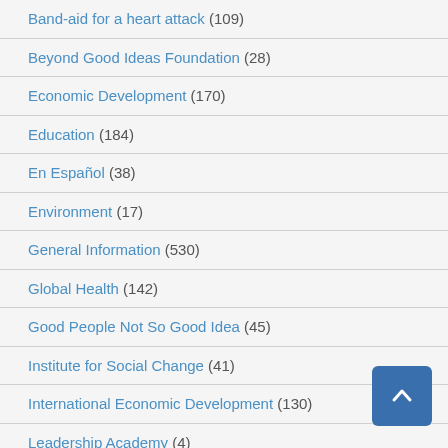Band-aid for a heart attack (109)
Beyond Good Ideas Foundation (28)
Economic Development (170)
Education (184)
En Español (38)
Environment (17)
General Information (530)
Global Health (142)
Good People Not So Good Idea (45)
Institute for Social Change (41)
International Economic Development (130)
Leadership Academy (4)